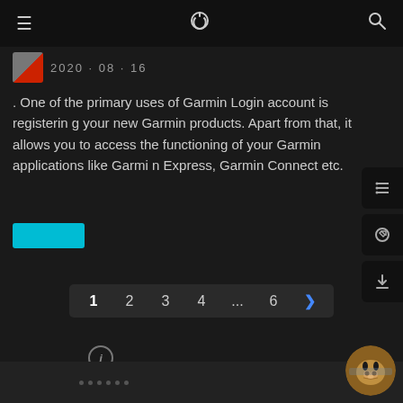≡  ⏻  🔍
2020 · 08 · 16
. One of the primary uses of Garmin Login account is registering your new Garmin products. Apart from that, it allows you to access the functioning of your Garmin applications like Garmin Express, Garmin Connect etc.
[Figure (other): Cyan/teal read more button]
[Figure (other): Pagination bar with page numbers 1 2 3 4 ... 6 and next arrow]
[Figure (other): Info circle icon (i)]
[Figure (other): Small red dot indicator]
· · · · · ·
[Figure (photo): Cat avatar photo in bottom right corner]